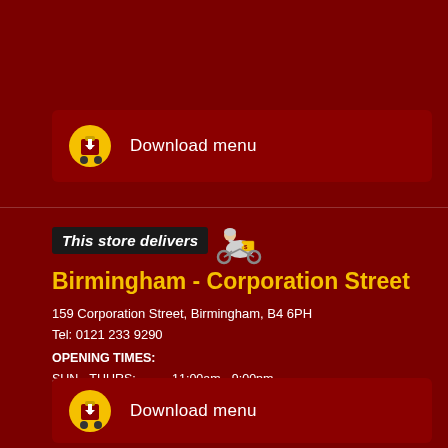[Figure (illustration): Download menu button with yellow food delivery icon at top]
[Figure (illustration): This store delivers badge with delivery rider illustration]
Birmingham - Corporation Street
159 Corporation Street, Birmingham, B4 6PH
Tel: 0121 233 9290
OPENING TIMES:
SUN - THURS:   11:00am - 9:00pm
SAT:                   12:00pm - 9:00pm
SUN:                   12:00pm - 7:00pm
[Figure (illustration): Download menu button with yellow food delivery icon at bottom]